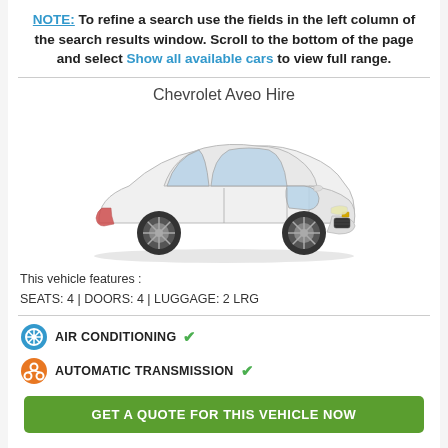NOTE: To refine a search use the fields in the left column of the search results window. Scroll to the bottom of the page and select Show all available cars to view full range.
Chevrolet Aveo Hire
[Figure (photo): White Chevrolet Aveo hatchback car, front three-quarter view]
This vehicle features : SEATS: 4 | DOORS: 4 | LUGGAGE: 2 LRG
AIR CONDITIONING ✔
AUTOMATIC TRANSMISSION ✔
GET A QUOTE FOR THIS VEHICLE NOW